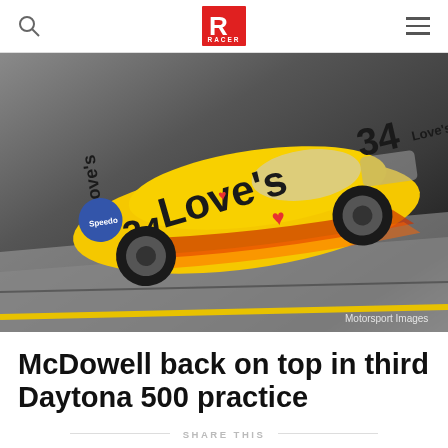RACER
[Figure (photo): Aerial view of NASCAR #34 Love's Travel Stops yellow race car driven by Michael McDowell racing on Daytona track. The car is prominently branded with Love's logos and the number 34. Caption: Motorsport Images]
Motorsport Images
McDowell back on top in third Daytona 500 practice
SHARE THIS